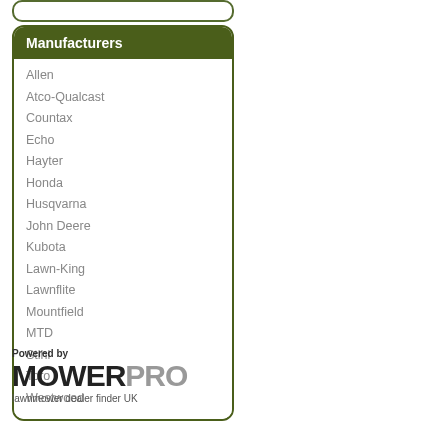Manufacturers
Allen
Atco-Qualcast
Countax
Echo
Hayter
Honda
Husqvarna
John Deere
Kubota
Lawn-King
Lawnflite
Mountfield
MTD
Stihl
Toro
Westwood
[Figure (logo): MowerPro logo with tagline 'lawnmower dealer finder UK'. Text reads 'Powered by MOWERPRO' where MOWER is in black and PRO is in grey.]